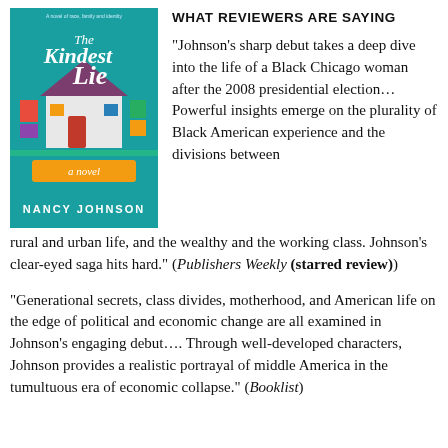WHAT REVIEWERS ARE SAYING
[Figure (illustration): Book cover of 'The Kindest Lie' by Nancy Johnson — teal/turquoise background with illustrated house, colorful shapes, text in white script and sans-serif]
“Johnson’s sharp debut takes a deep dive into the life of a Black Chicago woman after the 2008 presidential election… Powerful insights emerge on the plurality of Black American experience and the divisions between rural and urban life, and the wealthy and the working class. Johnson’s clear-eyed saga hits hard.” (Publishers Weekly (starred review))
“Generational secrets, class divides, motherhood, and American life on the edge of political and economic change are all examined in Johnson’s engaging debut…. Through well-developed characters, Johnson provides a realistic portrayal of middle America in the tumultuous era of economic collapse.” (Booklist)